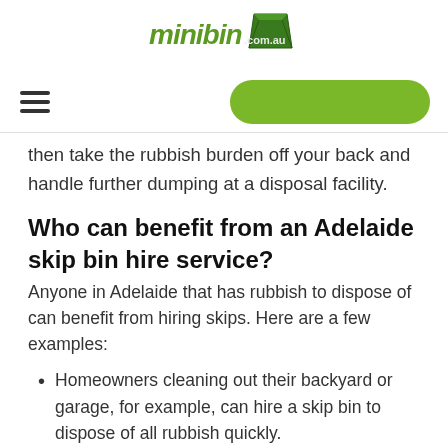[Figure (logo): minibin.com.au logo with green skip bin graphic]
[Figure (other): Navigation bar with hamburger menu icon on left and green pill-shaped CTA button on right]
then take the rubbish burden off your back and handle further dumping at a disposal facility.
Who can benefit from an Adelaide skip bin hire service?
Anyone in Adelaide that has rubbish to dispose of can benefit from hiring skips. Here are a few examples:
Homeowners cleaning out their backyard or garage, for example, can hire a skip bin to dispose of all rubbish quickly.